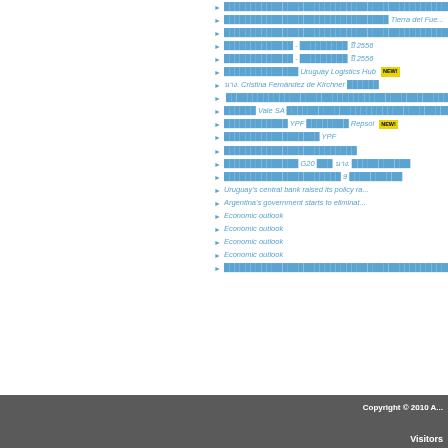████████████████████████████████████████████████████
████████████████████████████ Tierra del Fue...
████████████████████████████████████████████████████
█████████████ - █████████ ปี 2556
█████████████ - █████████ ปี 2556
█████████████ Uruguay Logistics Hub NEW!
นาง. Cristina Fernández de Kirchner ██████
████████████████████████████████████████████████████
██████ Vale SA █████████████████████████████████
███████████ YPF █████████ Repsol NEW!
████████████████ YPF
█████████████████████
████████████ G20 ███ นาง. ██████████
████████████████████ 9 █████████
Uruguay's central bank raised its policy ra...
Argentina's government starts to eliminat...
Economic outlook
Economic outlook
Economic outlook
Economic outlook
████████████████████████████████████████████████████
Copyright © 2010 A... | Visitors